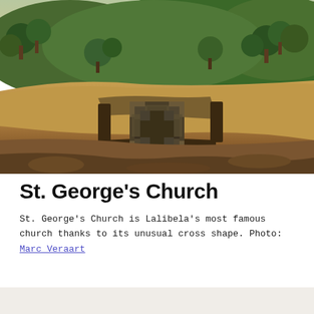[Figure (photo): Aerial view of St. George's Church (Bete Giyorgis) in Lalibela, Ethiopia. The rock-hewn church is carved in a distinctive Greek cross pattern into the reddish-brown rock plateau. Surrounding landscape includes dry earthen terrain with green trees and hills in the background under a warm sky.]
St. George's Church
St. George's Church is Lalibela's most famous church thanks to its unusual cross shape. Photo: Marc Veraart